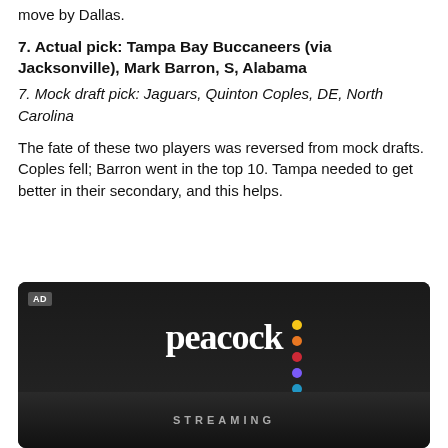move by Dallas.
7. Actual pick: Tampa Bay Buccaneers (via Jacksonville), Mark Barron, S, Alabama
7. Mock draft pick: Jaguars, Quinton Coples, DE, North Carolina
The fate of these two players was reversed from mock drafts. Coples fell; Barron went in the top 10. Tampa needed to get better in their secondary, and this helps.
[Figure (advertisement): Peacock streaming service advertisement with logo and colored dots on dark background, with STREAMING text at bottom]